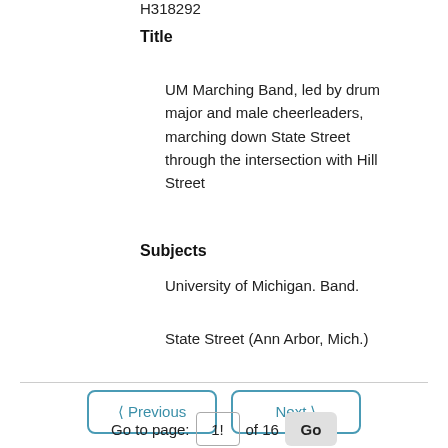H318292
Title
UM Marching Band, led by drum major and male cheerleaders, marching down State Street through the intersection with Hill Street
Subjects
University of Michigan. Band.
State Street (Ann Arbor, Mich.)
< Previous  Next >  Go to page: 1! of 16  Go